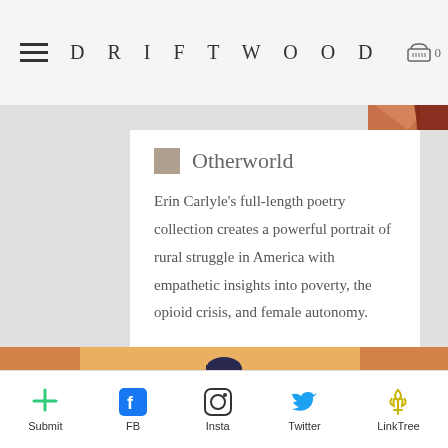DRIFTWOOD
Otherworld
Erin Carlyle’s full-length poetry collection creates a powerful portrait of rural struggle in America with empathetic insights into poverty, the opioid crisis, and female autonomy.
[Figure (illustration): Illustration of a person sitting with orange/warm tones behind a blue fence or railing]
Submit  FB  Insta  Twitter  LinkTree